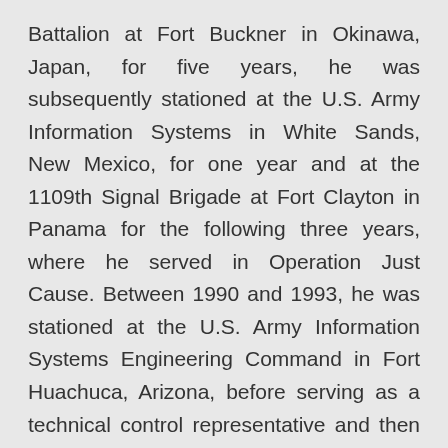Battalion at Fort Buckner in Okinawa, Japan, for five years, he was subsequently stationed at the U.S. Army Information Systems in White Sands, New Mexico, for one year and at the 1109th Signal Brigade at Fort Clayton in Panama for the following three years, where he served in Operation Just Cause. Between 1990 and 1993, he was stationed at the U.S. Army Information Systems Engineering Command in Fort Huachuca, Arizona, before serving as a technical control representative and then chief of the Electronics Service Branch at Fort McPherson in Georgia until his retirement in 2011.